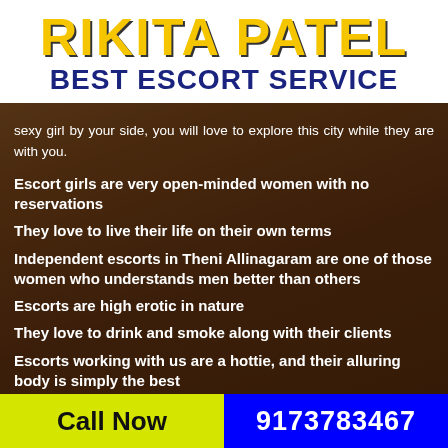RIKITA PATEL BEST ESCORT SERVICE
sexy girl by your side, you will love to explore this city while they are with you.
Escort girls are very open-minded women with no reservations
They love to live their life on their own terms
Independent escorts in Theni Allinagaram are one of those women who understands men better than others
Escorts are high erotic in nature
They love to drink and smoke along with their clients
Escorts working with us are a hottie, and their alluring body is simply the best
Call Now  9173783467